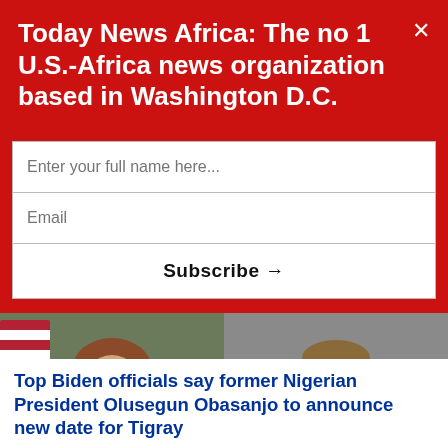Today News Africa: The no 1 U.S.-Africa news organization based in Washington D.C.
Enter your full name here...
Email
Subscribe →
[Figure (photo): Two side-by-side photos: left shows a woman with short brown hair wearing glasses and a dark blazer, with an American flag in the background; right shows a man in a blue shirt and dark red tie speaking into a microphone.]
Top Biden officials say former Nigerian President Olusegun Obasanjo to announce new date for Tigray